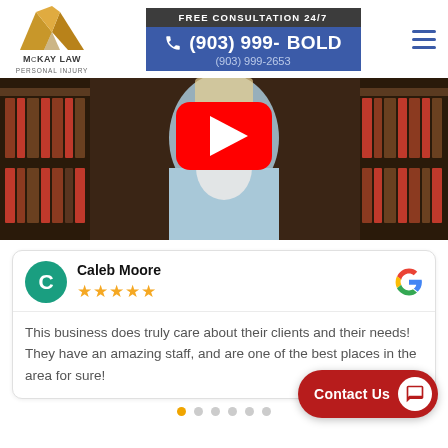[Figure (logo): McKay Law Personal Injury logo with gold M triangle shape]
FREE CONSULTATION 24/7
(903) 999-BOLD
(903) 999-2653
[Figure (screenshot): Video thumbnail showing a woman in a light blue blazer seated in front of law bookshelves, with a YouTube play button overlay]
Caleb Moore
★★★★★
This business does truly care about their clients and their needs! They have an amazing staff, and are one of the best places in the area for sure!
Contact Us